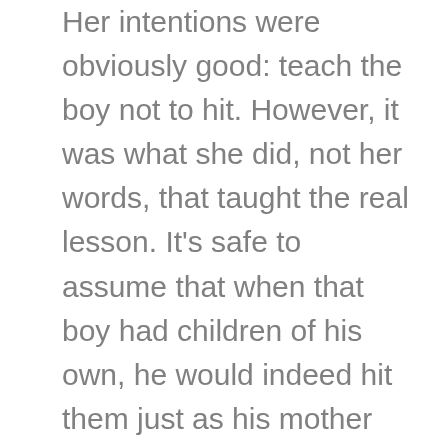Her intentions were obviously good: teach the boy not to hit. However, it was what she did, not her words, that taught the real lesson. It's safe to assume that when that boy had children of his own, he would indeed hit them just as his mother had taught him. Her positive intention to teach a good lesson probably set in motion a negative outcome and that was